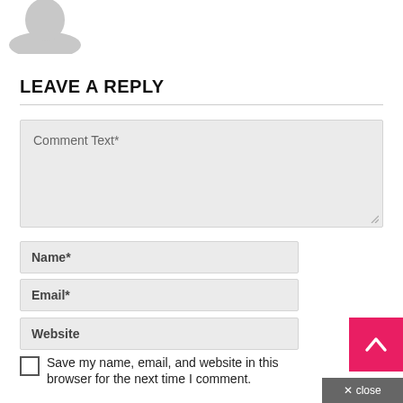[Figure (illustration): Gray avatar/profile icon silhouette at top left]
LEAVE A REPLY
Comment Text*
Name*
Email*
Website
Save my name, email, and website in this browser for the next time I comment.
[Figure (other): Pink/magenta back-to-top button with upward chevron arrow]